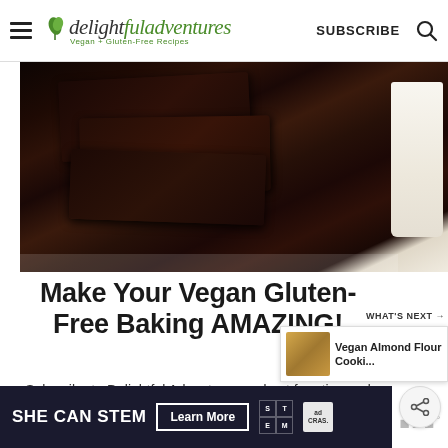delightful adventures Vegan + Gluten-Free Recipes | SUBSCRIBE
[Figure (photo): Stack of dark chocolate brownies on a white plate next to a glass of milk on a light background]
Make Your Vegan Gluten-Free Baking AMAZING!
Subscribe to Delightful Adventures and get free tips and recipes to transform your vegan gluten-free baking:
[Figure (infographic): What's Next panel showing Vegan Almond Flour Cooki... with thumbnail of cookies]
[Figure (infographic): SHE CAN STEM advertisement banner with Learn More button and STEM logo grid and ad badge]